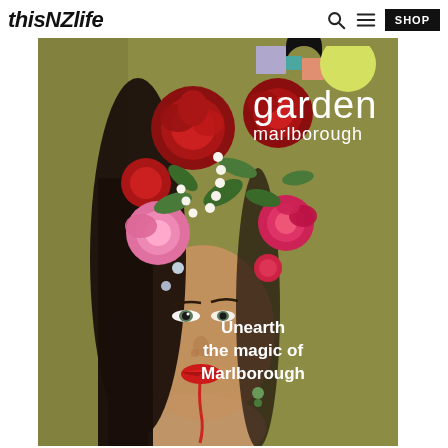thisNZlife  🔍  ≡  SHOP
[Figure (illustration): Promotional poster for Garden Marlborough featuring a woman's face merged with a floral collage (red peonies, pink roses, pearl sprigs, green leaves) on an olive/khaki green background. Top right has an abstract geometric logo with lavender, black, peach and yellow-green circles. Text reads 'garden marlborough' and 'Unearth the magic of Marlborough'.]